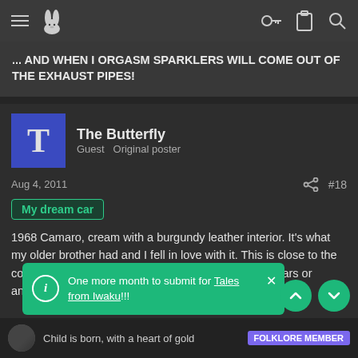Navigation bar with menu, logo, key, clipboard, search icons
... AND WHEN I ORGASM SPARKLERS WILL COME OUT OF THE EXHAUST PIPES!
The Butterfly
Guest  Original poster
Aug 4, 2011  #18
My dream car
1968 Camaro, cream with a burgundy leather interior. It's what my older brother had and I fell in love with it. This is close to the color but with a different interior. I'm not a big fan of cars or anything, but I f-wording love this car.
One more month to submit for Tales from Iwaku!!!
Child is born, with a heart of gold  FOLKLORE MEMBER